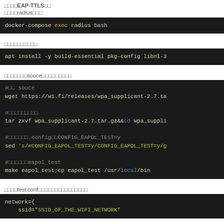□□□□EAP-TTLS□□
□□□□radius□□□
docker-compose exec radius bash
□□□□□□□□□□
apt install -y build-essential pkg-config libnl-3
□□□□□□□souce□□□□□□□□□
#□□ souce
wget https://w1.fi/releases/wpa_supplicant-2.7.ta

#□□□□□□□□□
tar zxvf wpa_supplicant-2.7.tar.gz&&cd wpa_suppli

#□□□□□□.config□□CONFIG_EAPOL_TEST=y
sed 's/#CONFIG_EAPOL_TEST=y/CONFIG_EAPOL_TEST=y/g

#□□□□□□eapol_test
make eapol_test;cp eapol_test /usr/local/bin
□□□□test.conf□□□□□□□□□□□□□□□
network={
    ssid="SSID_OF_THE_WIFI_NETWORK"